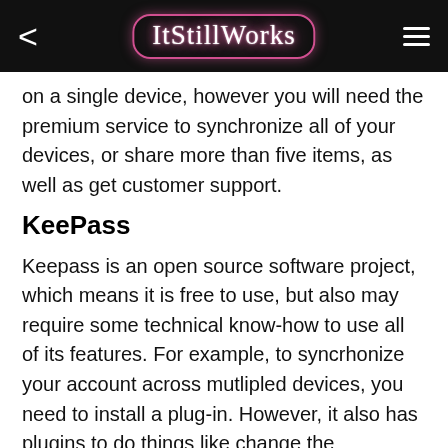ItStillWorks
on a single device, however you will need the premium service to synchronize all of your devices, or share more than five items, as well as get customer support.
KeePass
Keepass is an open source software project, which means it is free to use, but also may require some technical know-how to use all of its features. For example, to syncrhonize your account across mutlipled devices, you need to install a plug-in. However, it also has plugins to do things like change the encryption algorithm it